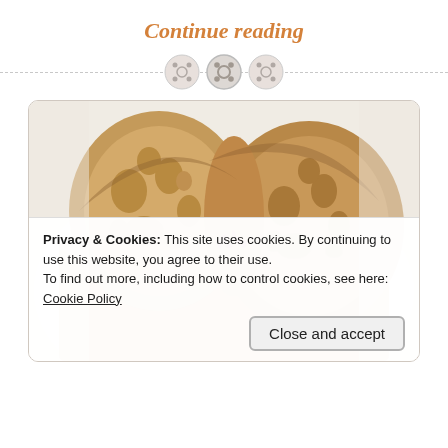Continue reading
[Figure (illustration): Three decorative button icons arranged horizontally with a dashed horizontal divider line behind them]
[Figure (photo): Close-up photo of sliced artisan bread rolls with porous crumb texture, served in a white bowl with orange-tinted soup or sauce and red microgreens garnish]
Privacy & Cookies: This site uses cookies. By continuing to use this website, you agree to their use.
To find out more, including how to control cookies, see here: Cookie Policy
Close and accept